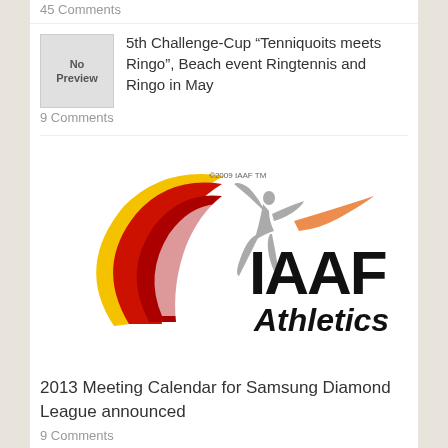45 Comments
[Figure (other): No Preview placeholder box]
5th Challenge-Cup “Tenniquoits meets Ringo”, Beach event Ringtennis and Ringo in May
9 Comments
[Figure (logo): IAAF Athletics logo with swoosh design and athlete figure, copyright 2009 IAAF TM]
2013 Meeting Calendar for Samsung Diamond League announced
9 Comments